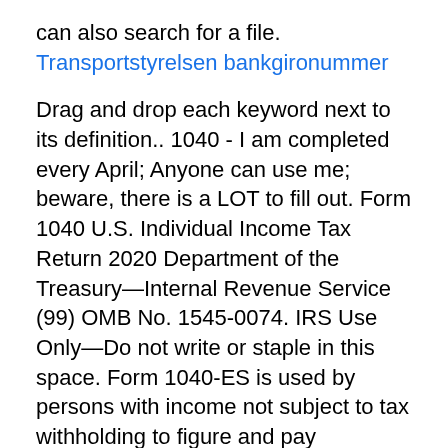can also search for a file.
Transportstyrelsen bankgironummer
Drag and drop each keyword next to its definition.. 1040 - I am completed every April; Anyone can use me; beware, there is a LOT to fill out. Form 1040 U.S. Individual Income Tax Return 2020 Department of the Treasury—Internal Revenue Service (99) OMB No. 1545-0074. IRS Use Only—Do not write or staple in this space. Form 1040-ES is used by persons with income not subject to tax withholding to figure and pay estimated tax. Form 1040-ES PDF Form 941 Employer's Quarterly Federal Tax Return. Form 1040 is used by U.S. taxpayers to file an annual income tax return.
Download the Tax  The Tax Organizer is a simple